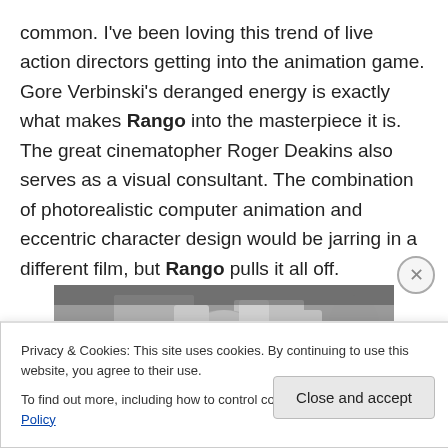common. I've been loving this trend of live action directors getting into the animation game. Gore Verbinski's deranged energy is exactly what makes Rango into the masterpiece it is. The great cinematopher Roger Deakins also serves as a visual consultant. The combination of photorealistic computer animation and eccentric character design would be jarring in a different film, but Rango pulls it all off.
[Figure (photo): Black and white photo of a person holding up what appear to be photographs or cards, partially visible, with crowd in background]
Privacy & Cookies: This site uses cookies. By continuing to use this website, you agree to their use.
To find out more, including how to control cookies, see here: Cookie Policy
Close and accept